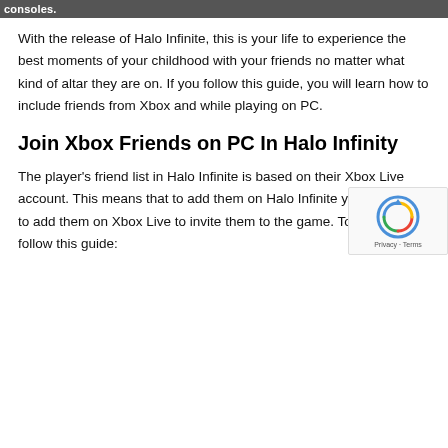consoles.
With the release of Halo Infinite, this is your life to experience the best moments of your childhood with your friends no matter what kind of altar they are on. If you follow this guide, you will learn how to include friends from Xbox and while playing on PC.
Join Xbox Friends on PC In Halo Infinity
The player's friend list in Halo Infinite is based on their Xbox Live account. This means that to add them on Halo Infinite you will need to add them on Xbox Live to invite them to the game. To do this follow this guide: